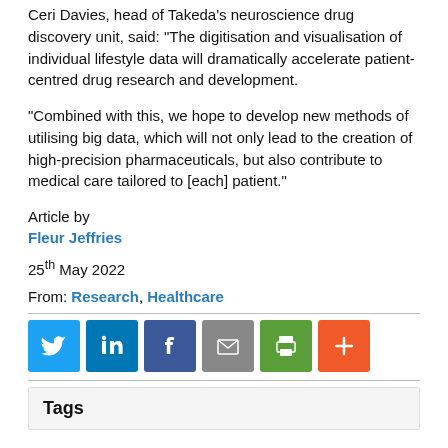Ceri Davies, head of Takeda's neuroscience drug discovery unit, said: “The digitisation and visualisation of individual lifestyle data will dramatically accelerate patient-centred drug research and development.
“Combined with this, we hope to develop new methods of utilising big data, which will not only lead to the creation of high-precision pharmaceuticals, but also contribute to medical care tailored to [each] patient.”
Article by
Fleur Jeffries
25th May 2022
From: Research, Healthcare
[Figure (infographic): Social sharing icons: Twitter (blue), LinkedIn (blue), Facebook (dark blue), Email (grey), Print (green), More/Plus (orange)]
Tags